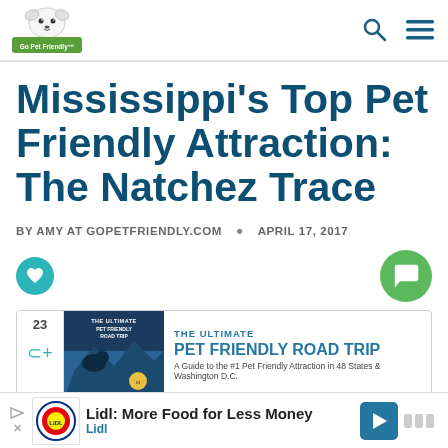[Figure (logo): Go Pet Friendly logo with cartoon dog and green banner]
Mississippi's Top Pet Friendly Attraction: The Natchez Trace
BY AMY AT GOPETFRIENDLY.COM • APRIL 17, 2017
[Figure (infographic): Book promotional banner for The Ultimate Pet Friendly Road Trip — A Guide to the #1 Pet Friendly Attraction in 48 States & Washington D.C.]
[Figure (screenshot): Lidl advertisement: Lidl: More Food for Less Money — Lidl]